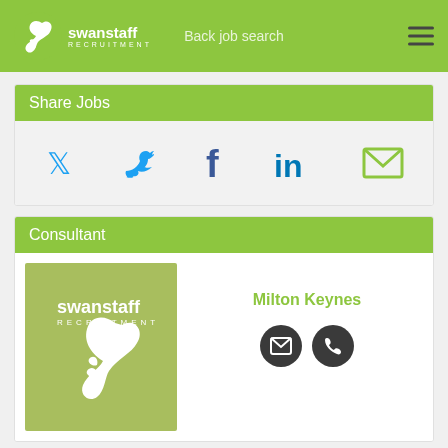swanstaff RECRUITMENT — Back job search
Share Jobs
[Figure (infographic): Social share icons: Twitter, Facebook, LinkedIn, Email]
Consultant
[Figure (logo): Swanstaff Recruitment logo on sage green background]
Milton Keynes
[Figure (infographic): Email and phone contact icon buttons]